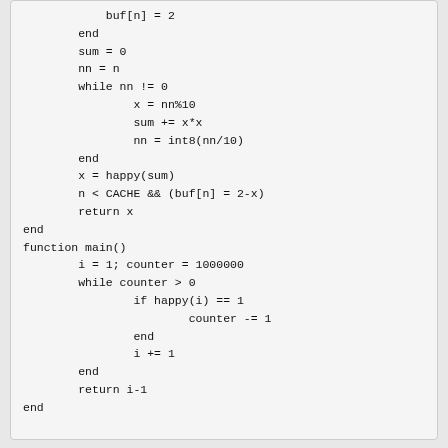buf[n] = 2
        end
        sum = 0
        nn = n
        while nn != 0
                x = nn%10
                sum += x*x
                nn = int8(nn/10)
        end
        x = happy(sum)
        n < CACHE && (buf[n] = 2-x)
        return x
end
function main()
        i = 1; counter = 1000000
        while counter > 0
                if happy(i) == 1
                        counter -= 1
                end
                i += 1
        end
        return i-1
end